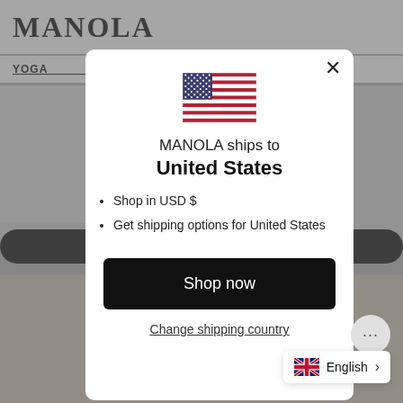MANOLA   YOGA   KOUT
[Figure (screenshot): Background website showing MANOLA fashion retail page with workout clothing images]
[Figure (infographic): Modal popup dialog: US flag icon, text 'MANOLA ships to United States', bullet points 'Shop in USD $' and 'Get shipping options for United States', 'Shop now' button, 'Change shipping country' link]
MANOLA ships to United States
Shop in USD $
Get shipping options for United States
Shop now
Change shipping country
English